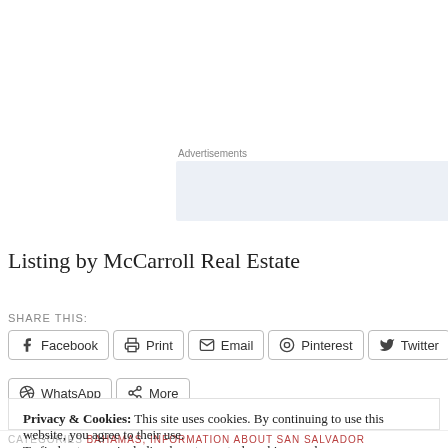Advertisements
Listing by McCarroll Real Estate
SHARE THIS:
Facebook
Print
Email
Pinterest
Twitter
WhatsApp
More
Privacy & Cookies: This site uses cookies. By continuing to use this website, you agree to their use.
To find out more, including how to control cookies, see here:
Cookie Policy
Close and accept
CATEGORIES BAHAMAS, INFORMATION ABOUT SAN SALVADOR